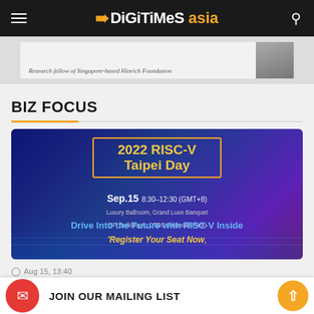DIGITIMES asia
[Figure (photo): Partial image strip showing a person in formal attire with caption 'Research fellow of Singapore-based Hinrich Foundation']
BIZ FOCUS
[Figure (photo): 2022 RISC-V Taipei Day event promotional banner. Sep.15 8:30-12:30 (GMT+8). Luxury Ballroom, Grand Luxe Banquet (3F, Building A, CTBC Financial Park). Drive Into the Future with RISC-V Inside. Register Your Seat Now.]
Aug 15, 13:40
2022 RISC-V Taipei Day: September t...
JOIN OUR MAILING LIST